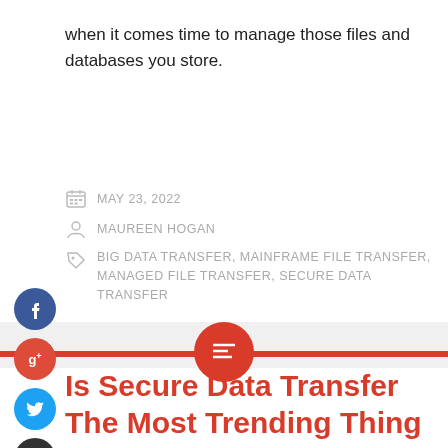when it comes time to manage those files and databases you store.
MAY 23, 2022
MAUREEN HOGAN
BIG DATA TRANSFER, MAINFRAME FILE TRANSFER, MANAGED FILE TRANSFER, SECURE DATA TRANSFER
[Figure (infographic): Social media share buttons: Facebook (blue), Google+ (red), Twitter (blue), Plus (dark), and a floating red circle with lines icon centered on a red horizontal bar over a grey divider band]
Is Secure Data Transfer The Most Trending Thing Now?